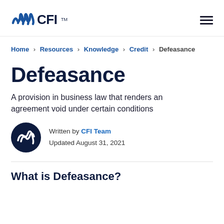CFI logo and navigation menu
Home > Resources > Knowledge > Credit > Defeasance
Defeasance
A provision in business law that renders an agreement void under certain conditions
Written by CFI Team
Updated August 31, 2021
What is Defeasance?